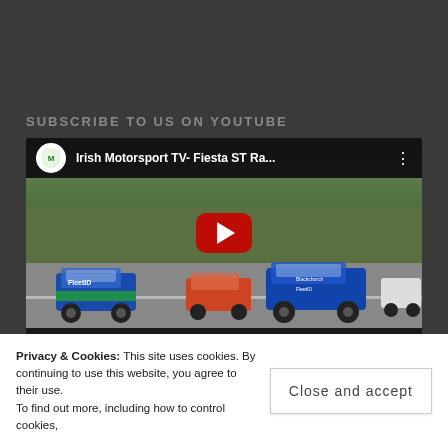SUBSCRIBE TO US ON YOUTUBE
[Figure (screenshot): YouTube video player showing 'Irish Motorsport TV- Fiesta ST Ra...' with racing cars on a track. Video duration 34:59, showing 00:00 timestamp. Red play button overlay in center.]
Privacy & Cookies: This site uses cookies. By continuing to use this website, you agree to their use.
To find out more, including how to control cookies,
Close and accept